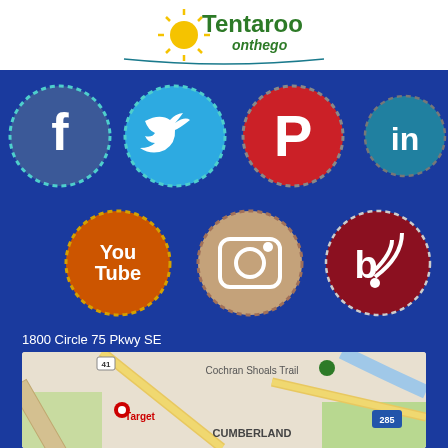[Figure (logo): Tentaroo onthego logo with sun rays graphic, green and gold text on white background]
[Figure (illustration): Seven social media icons arranged in two rows: Facebook (dark blue circle), Twitter (light blue circle), Pinterest (red circle), LinkedIn (teal circle) in row 1; YouTube (orange circle), Instagram (tan/beige circle), Blog/RSS (dark red circle) in row 2. All with stitched border decoration.]
1800 Circle 75 Pkwy SE
Atlanta, Georgia 30339
P: (770) 989-8820
info@atlantabsa.org
[Figure (map): Google Maps view showing Cumberland area near Atlanta, Georgia. Shows Cochran Shoals Trail, Target store, route 285, and CUMBERLAND label.]